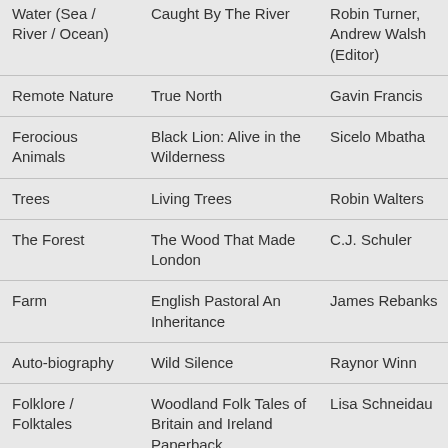| Water (Sea / River / Ocean) | Caught By The River | Robin Turner, Andrew Walsh (Editor) |
| Remote Nature | True North | Gavin Francis |
| Ferocious Animals | Black Lion: Alive in the Wilderness | Sicelo Mbatha |
| Trees | Living Trees | Robin Walters |
| The Forest | The Wood That Made London | C.J. Schuler |
| Farm | English Pastoral An Inheritance | James Rebanks |
| Auto-biography | Wild Silence | Raynor Winn |
| Folklore / Folktales | Woodland Folk Tales of Britain and Ireland Paperback | Lisa Schneidau |